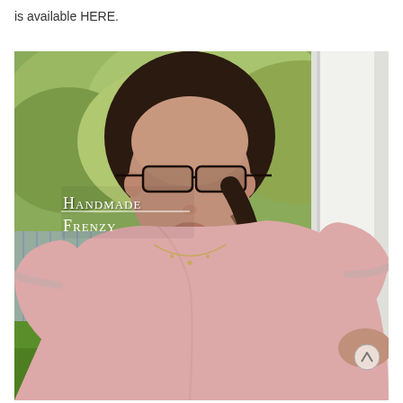is available HERE.
[Figure (photo): Woman wearing glasses and a pink blouse with a braid hairstyle, standing in front of a green garden background. Text overlay reads 'Handmade Frenzy' in white serif font.]